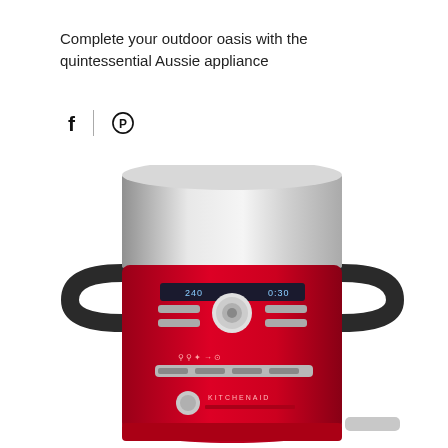Complete your outdoor oasis with the quintessential Aussie appliance
[Figure (other): Social media share icons: Facebook (f) and Pinterest (circle with P), separated by a vertical divider line]
[Figure (photo): A red KitchenAid cooking appliance (food processor/cooker) with a large stainless steel bowl on top, showing control panel with digital display, knob, and function buttons]